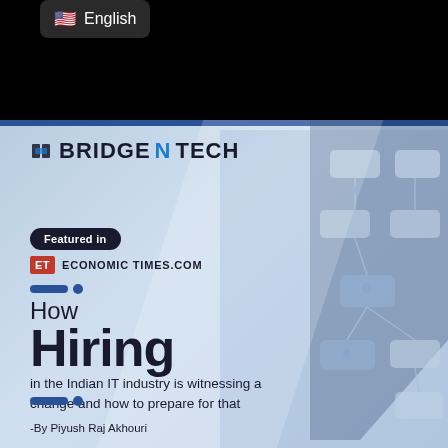[Figure (screenshot): Top black section with US flag emoji and English language badge on dark rounded rectangle background]
[Figure (infographic): BridgeNTech branded article cover with blue-grey background, network/hiring diagram on right side. Shows 'Featured in Economic Times.com' badge, article title 'How Hiring in the Indian IT industry is witnessing a change and how to prepare for that', author '-By Piyush Raj Akhouri']